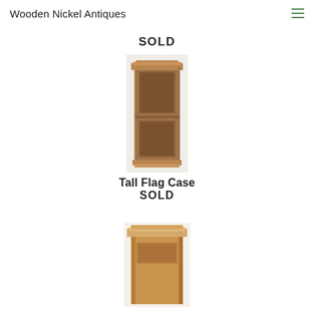Wooden Nickel Antiques
SOLD
[Figure (photo): Tall narrow wooden flag case with molded crown top and base, dark walnut finish, two-panel front]
Tall Flag Case
SOLD
[Figure (photo): Top portion of a tall wooden cabinet or case with molded cornice, lighter oak finish]